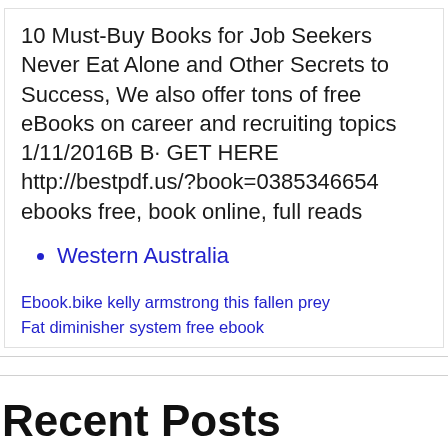10 Must-Buy Books for Job Seekers Never Eat Alone and Other Secrets to Success, We also offer tons of free eBooks on career and recruiting topics 1/11/2016B B· GET HERE http://bestpdf.us/?book=0385346654 ebooks free, book online, full reads
Western Australia
Ebook.bike kelly armstrong this fallen prey
Fat diminisher system free ebook
Recent Posts